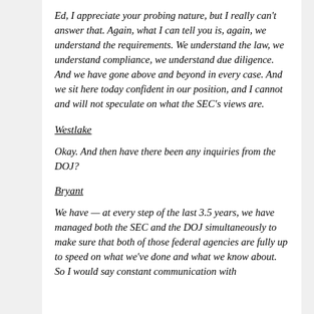Ed, I appreciate your probing nature, but I really can't answer that. Again, what I can tell you is, again, we understand the requirements. We understand the law, we understand compliance, we understand due diligence. And we have gone above and beyond in every case. And we sit here today confident in our position, and I cannot and will not speculate on what the SEC's views are.
Westlake
Okay. And then have there been any inquiries from the DOJ?
Bryant
We have — at every step of the last 3.5 years, we have managed both the SEC and the DOJ simultaneously to make sure that both of those federal agencies are fully up to speed on what we've done and what we know about. So I would say constant communication with